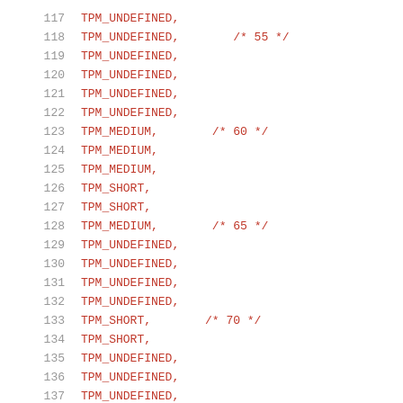117  TPM_UNDEFINED,
118  TPM_UNDEFINED,  /* 55 */
119  TPM_UNDEFINED,
120  TPM_UNDEFINED,
121  TPM_UNDEFINED,
122  TPM_UNDEFINED,
123  TPM_MEDIUM,     /* 60 */
124  TPM_MEDIUM,
125  TPM_MEDIUM,
126  TPM_SHORT,
127  TPM_SHORT,
128  TPM_MEDIUM,     /* 65 */
129  TPM_UNDEFINED,
130  TPM_UNDEFINED,
131  TPM_UNDEFINED,
132  TPM_UNDEFINED,
133  TPM_SHORT,      /* 70 */
134  TPM_SHORT,
135  TPM_UNDEFINED,
136  TPM_UNDEFINED,
137  TPM_UNDEFINED,